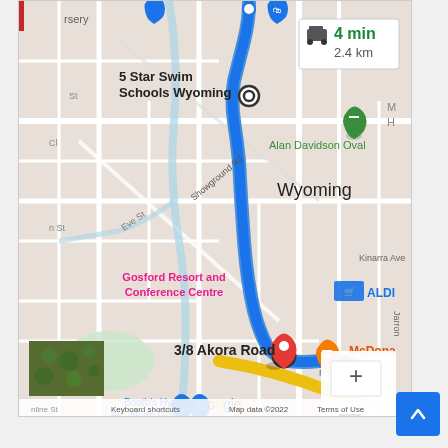[Figure (map): Google Maps screenshot showing a driving route from 5 Star Swim Schools Wyoming to 3/8 Akora Road, with a travel time of 4 min and 2.4 km distance. The route is shown as a blue highlighted path through Wyoming area, passing Alan Davidson Oval, Gosford Resort and Conference Centre, and ending near McDonald's on Pembrooke Road. Map shows landmarks including Booth's Hyundai North Gosford, ALDI, and other local features. Map data ©2022 Google.]